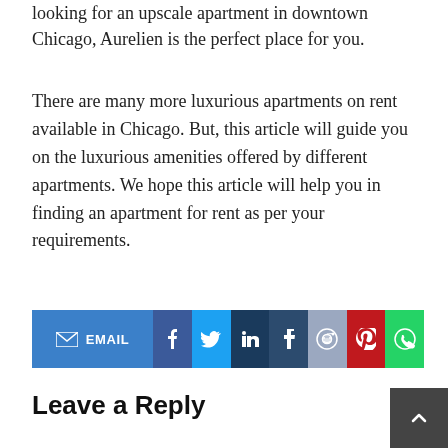looking for an upscale apartment in downtown Chicago, Aurelien is the perfect place for you.
There are many more luxurious apartments on rent available in Chicago. But, this article will guide you on the luxurious amenities offered by different apartments. We hope this article will help you in finding an apartment for rent as per your requirements.
[Figure (other): Social share bar with EMAIL, Facebook, Twitter, LinkedIn, Tumblr, Reddit, Pinterest, and WhatsApp buttons]
Leave a Reply